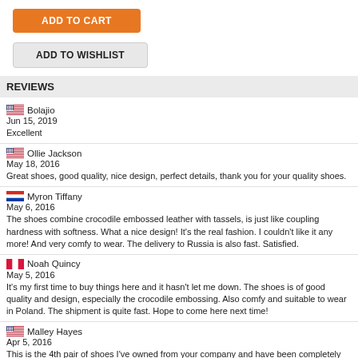ADD TO CART
ADD TO WISHLIST
REVIEWS
Bolajio
Jun 15, 2019
Excellent
Ollie Jackson
May 18, 2016
Great shoes, good quality, nice design, perfect details, thank you for your quality shoes.
Myron Tiffany
May 6, 2016
The shoes combine crocodile embossed leather with tassels, is just like coupling hardness with softness. What a nice design! It's the real fashion. I couldn't like it any more! And very comfy to wear. The delivery to Russia is also fast. Satisfied.
Noah Quincy
May 5, 2016
It's my first time to buy things here and it hasn't let me down. The shoes is of good quality and design, especially the crocodile embossing. Also comfy and suitable to wear in Poland. The shipment is quite fast. Hope to come here next time!
Malley Hayes
Apr 5, 2016
This is the 4th pair of shoes I've owned from your company and have been completely satisfied with all. I am very pleased with its quality and fit. Really nice! I love them!! These are the best shoes I've ever worn and I think I won't buy from any other companies. By the way, quick delivery to Boston.